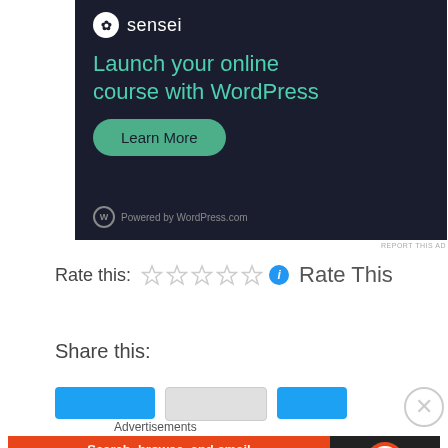[Figure (screenshot): Dark-themed advertisement banner for Sensei LMS plugin: 'Launch your online course with WordPress' with a teal 'Learn More' button and 'Powered by WordPress.com' footer]
REPORT THIS AD
Rate this: ☆☆☆☆☆ ℹ Rate This
Share this:
[Figure (screenshot): Advertisements: DuckDuckGo banner ad with orange and dark sections. Text: 'Search, browse, and email with more privacy. All in One Free App' with DuckDuckGo logo]
REPORT THIS AD